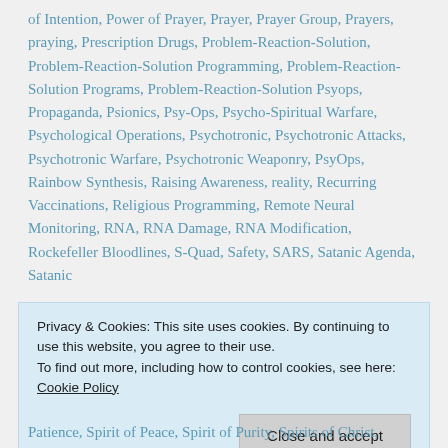of Intention, Power of Prayer, Prayer, Prayer Group, Prayers, praying, Prescription Drugs, Problem-Reaction-Solution, Problem-Reaction-Solution Programming, Problem-Reaction-Solution Programs, Problem-Reaction-Solution Psyops, Propaganda, Psionics, Psy-Ops, Psycho-Spiritual Warfare, Psychological Operations, Psychotronic, Psychotronic Attacks, Psychotronic Warfare, Psychotronic Weaponry, PsyOps, Rainbow Synthesis, Raising Awareness, reality, Recurring Vaccinations, Religious Programming, Remote Neural Monitoring, RNA, RNA Damage, RNA Modification, Rockefeller Bloodlines, S-Quad, Safety, SARS, Satanic Agenda, Satanic...
Privacy & Cookies: This site uses cookies. By continuing to use this website, you agree to their use.
To find out more, including how to control cookies, see here: Cookie Policy
Patience, Spirit of Peace, Spirit of Purity, Spirits of Christ,